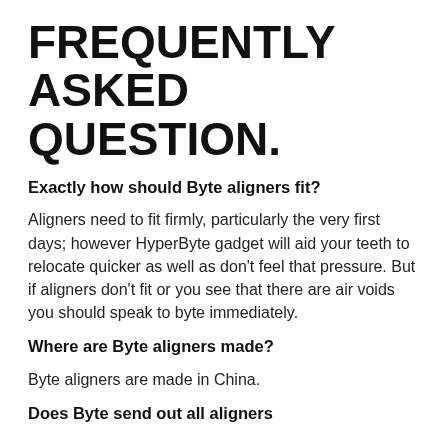FREQUENTLY ASKED QUESTION.
Exactly how should Byte aligners fit?
Aligners need to fit firmly, particularly the very first days; however HyperByte gadget will aid your teeth to relocate quicker as well as don't feel that pressure. But if aligners don't fit or you see that there are air voids you should speak to byte immediately.
Where are Byte aligners made?
Byte aligners are made in China.
Does Byte send out all aligners